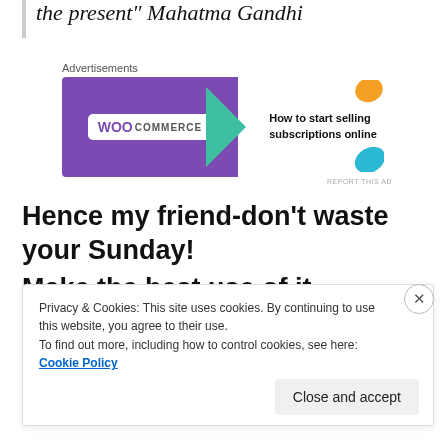the present" Mahatma Gandhi
[Figure (other): WooCommerce advertisement banner: 'How to start selling subscriptions online']
Hence my friend-don't waste your Sunday!
Make the best use of it- whatever you wish and plan.
Privacy & Cookies: This site uses cookies. By continuing to use this website, you agree to their use. To find out more, including how to control cookies, see here: Cookie Policy